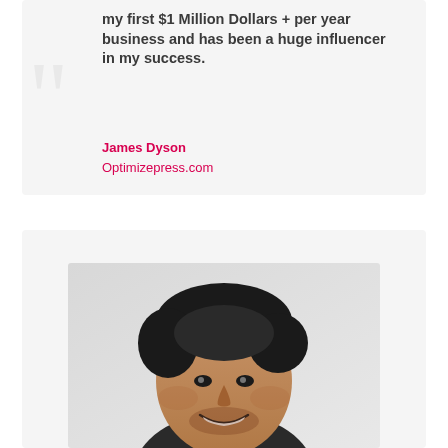my first $1 Million Dollars + per year business and has been a huge influencer in my success.
James Dyson
Optimizepress.com
[Figure (photo): Portrait photo of a smiling Asian man with dark hair and beard, wearing a dark shirt, photographed against a light gray background.]